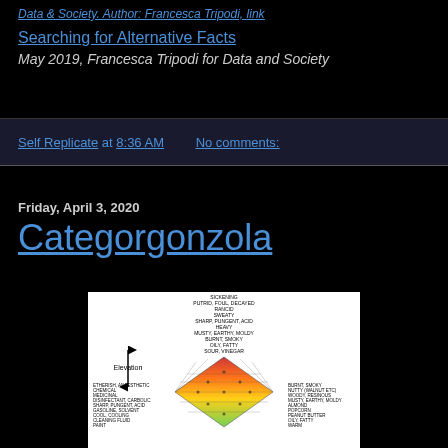Data & Society. Author: Francesca Tripodi, [link]
Searching for Alternative Facts
May 2019, Francesca Tripodi for Data and Society
Self Replicate at 8:36 AM    No comments:
Friday, April 3, 2020
Categorgonzola
[Figure (radar-chart): A 3D radar/dome chart showing odor/flavor elevation categories. Labels visible include: SICKENING, PUTRID, FOUL, DECAYED, RANCID, SWEATY, SHARP, PUNGENT, ACID, HEAVY, MUSTY, EARTHY, MOLDY, BURNT, SMOKY, OIL, FATTY, SOUR, VINEGAR on top axis; ETHERISH, ANAESTHETIC, CHEMICAL, MEDICINAL, DISINFECTANT, CARBOLIC, SHARP, PUNGENT, ACID, GASOLINE, SOLVENT, COOL, COOLING, CLEANING FLUID, PAINT on left side; BURNT, SMOKY, NUTTY (WALNUT ETC), WOODY, RESINOUS, MUSTY, EARTHY, MOLDY, ALMOND, POPCORN, PEANUT BUTTER, OILY, FATTY, WARM on right side. The dome is colored red/orange/yellow/green. Elevation arrow label on left side.]